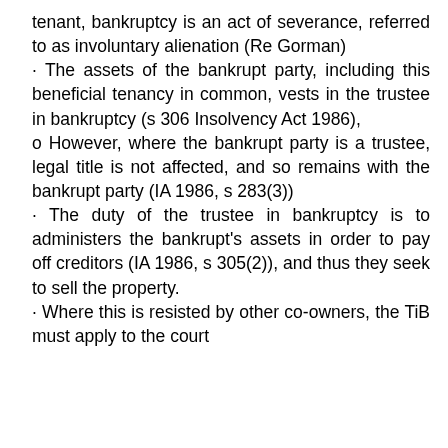tenant, bankruptcy is an act of severance, referred to as involuntary alienation (Re Gorman)
· The assets of the bankrupt party, including this beneficial tenancy in common, vests in the trustee in bankruptcy (s 306 Insolvency Act 1986),
o However, where the bankrupt party is a trustee, legal title is not affected, and so remains with the bankrupt party (IA 1986, s 283(3))
· The duty of the trustee in bankruptcy is to administers the bankrupt's assets in order to pay off creditors (IA 1986, s 305(2)), and thus they seek to sell the property.
· Where this is resisted by other co-owners, the TiB must apply to the court